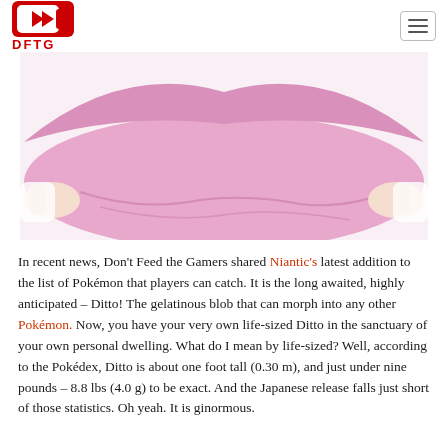DFTG
[Figure (photo): Two hands stretching a large pink/lavender fabric or blanket horizontally against a white background]
In recent news, Don't Feed the Gamers shared Niantic's latest addition to the list of Pokémon that players can catch. It is the long awaited, highly anticipated – Ditto! The gelatinous blob that can morph into any other Pokémon. Now, you have your very own life-sized Ditto in the sanctuary of your own personal dwelling. What do I mean by life-sized? Well, according to the Pokédex, Ditto is about one foot tall (0.30 m), and just under nine pounds – 8.8 lbs (4.0 g) to be exact. And the Japanese release falls just short of those statistics. Oh yeah. It is ginormous.